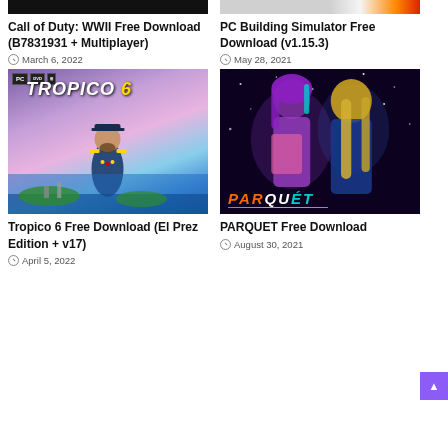[Figure (photo): Call of Duty WWII game cover – dark/black image, partially cropped]
Call of Duty: WWII Free Download (B7831931 + Multiplayer)
March 6, 2022
[Figure (photo): PC Building Simulator game cover – light grey and orange image, partially cropped]
PC Building Simulator Free Download (v1.15.3)
May 28, 2021
[Figure (photo): Tropico 6 game cover showing a military general figure with tropical island city background, PC/DvD/Windows badges in top-left]
Tropico 6 Free Download (El Prez Edition + v17)
April 5, 2022
[Figure (photo): PARQUET visual novel cover showing two anime girls (one with purple hair, one with blonde hair) against a starry purple/blue background, with PARQUET logo at bottom]
PARQUET Free Download
August 30, 2021